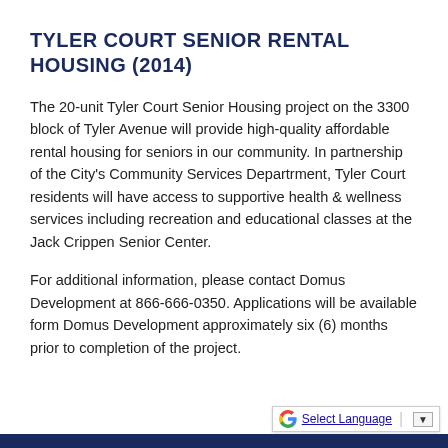TYLER COURT SENIOR RENTAL HOUSING (2014)
The 20-unit Tyler Court Senior Housing project on the 3300 block of Tyler Avenue will provide high-quality affordable rental housing for seniors in our community. In partnership of the City's Community Services Departrment, Tyler Court residents will have access to supportive health & wellness services including recreation and educational classes at the Jack Crippen Senior Center.
For additional information, please contact Domus Development at 866-666-0350. Applications will be available form Domus Development approximately six (6) months prior to completion of the project.